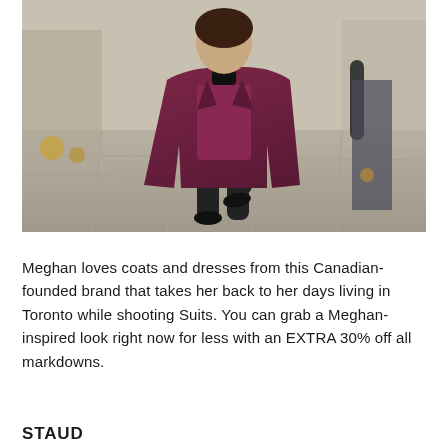[Figure (photo): A person wearing a dark red/burgundy coat over a matching dress with black tights and black shoes, walking on a stone pavement street. Other people are partially visible in the background.]
Meghan loves coats and dresses from this Canadian-founded brand that takes her back to her days living in Toronto while shooting Suits. You can grab a Meghan-inspired look right now for less with an EXTRA 30% off all markdowns.
STAUD